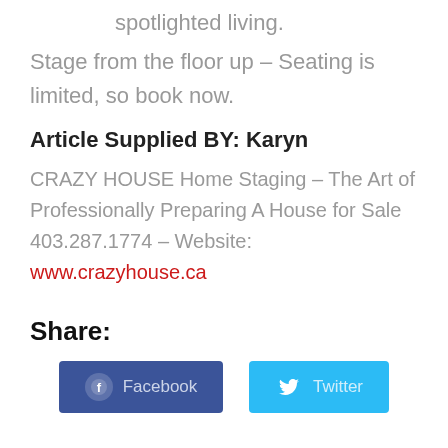spotlighted living.
Stage from the floor up – Seating is limited, so book now.
Article Supplied BY: Karyn
CRAZY HOUSE Home Staging – The Art of Professionally Preparing A House for Sale 403.287.1774 – Website: www.crazyhouse.ca
Share:
[Figure (other): Facebook and Twitter share buttons]